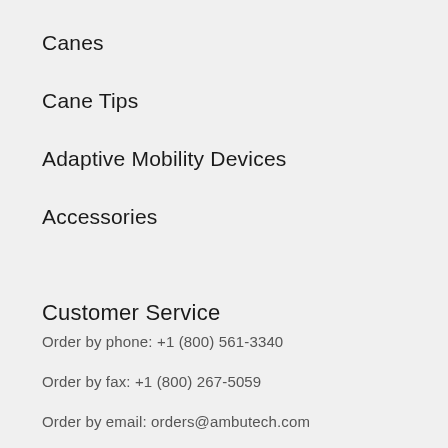Canes
Cane Tips
Adaptive Mobility Devices
Accessories
Customer Service
Order by phone: +1 (800) 561-3340
Order by fax: +1 (800) 267-5059
Order by email: orders@ambutech.com